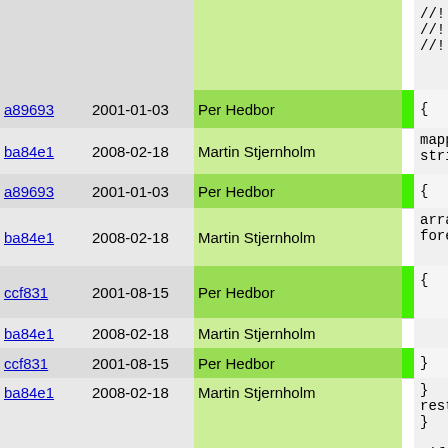| hash | date | author |  | code |
| --- | --- | --- | --- | --- |
|  |  |  |  | //! enco
//! wide
//! and |
| a89693 | 2001-01-03 | Per Hedbor | | | { |
| ba84e1 | 2008-02-18 | Martin Stjernholm | | | mappin
string |
| a89693 | 2001-01-03 | Per Hedbor | | | { |
| ba84e1 | 2008-02-18 | Martin Stjernholm | | | arra
fore
    if |
| ccf831 | 2001-08-15 | Per Hedbor | | | { |
| ba84e1 | 2008-02-18 | Martin Stjernholm |  |  |
| ccf831 | 2001-08-15 | Per Hedbor | | | } |
| ba84e1 | 2008-02-18 | Martin Stjernholm |  | }
rest
}

#ifdef ENA
    // Thi
    // STU
    // any
    // /ma |